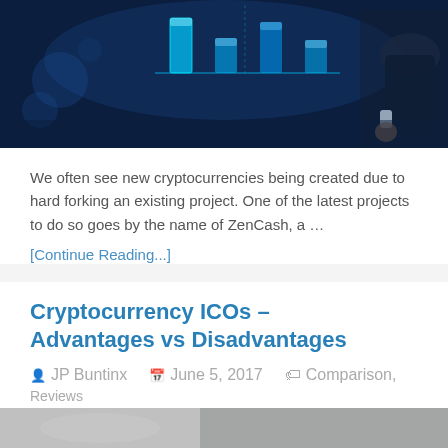[Figure (photo): Dark blue tech/blockchain themed banner image with glowing digital bar chart elements and a businessman in the background]
We often see new cryptocurrencies being created due to hard forking an existing project. One of the latest projects to do so goes by the name of ZenCash, a …
[Continue Reading...]
Cryptocurrency ICOs – Advantages vs Disadvantages
JP Buntinx   June 5, 2017   Comparison, Reviews
[Figure (photo): Partial view of next article's thumbnail image at bottom of page]